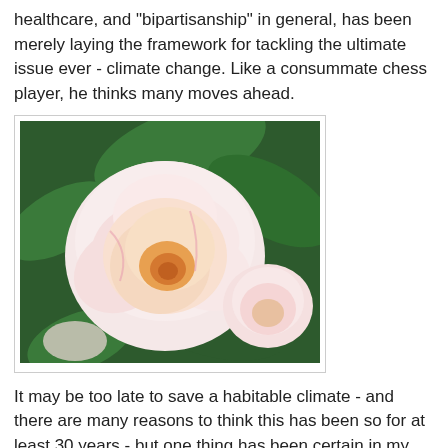healthcare, and "bipartisanship" in general, has been merely laying the framework for tackling the ultimate issue ever - climate change. Like a consummate chess player, he thinks many moves ahead.
[Figure (photo): Close-up photograph of large pink peony flowers with green leafy background]
It may be too late to save a habitable climate - and there are many reasons to think this has been so for at least 30 years - but one thing has been certain in my mind for some time - there is no one more able to do it than Obama.
[Figure (photo): Partial photograph at bottom of page, dark tones, appears to show foliage or outdoor scene]